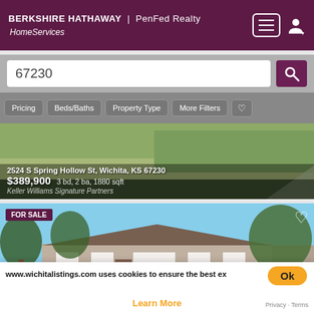BERKSHIRE HATHAWAY | PenFed Realty HomeServices
67230
Pricing
Beds/Baths
Property Type
More Filters
[Figure (photo): Exterior photo of house at 2524 S Spring Hollow St with driveway and grass]
2524 S Spring Hollow St, Wichita, KS 67230
$389,900 3 bd, 2 ba, 1880 sqft
Keller Williams Signature Partners
[Figure (photo): Exterior photo of ranch-style brick house at 536 N Lancaster Dr surrounded by large trees]
536 N Lancaster Dr, Wichita, KS 67230
$410,000 3 bd, 3 ba, 3024 sqft
www.wichitalistings.com uses cookies to ensure the best ex
Learn More
FOR SALE